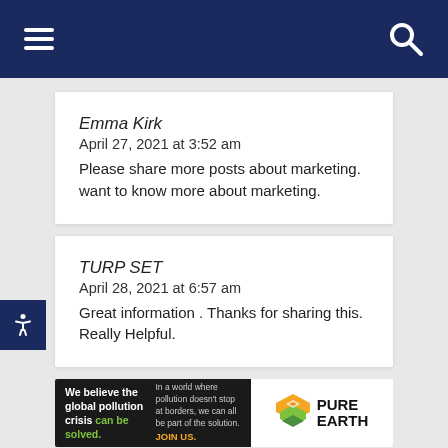Navigation bar with hamburger menu and search icon
Emma Kirk
April 27, 2021 at 3:52 am
Please share more posts about marketing. want to know more about marketing.
TURP SET
April 28, 2021 at 6:57 am
Great information . Thanks for sharing this. Really Helpful.
[Figure (other): Pure Earth advertisement banner: 'We believe the global pollution crisis can be solved.' with tagline and JOIN US call to action and Pure Earth logo]